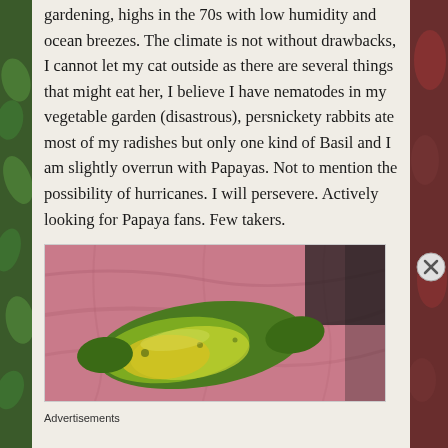gardening, highs in the 70s with low humidity and ocean breezes. The climate is not without drawbacks, I cannot let my cat outside as there are several things that might eat her, I believe I have nematodes in my vegetable garden (disastrous), persnickety rabbits ate most of my radishes but only one kind of Basil and I am slightly overrun with Papayas. Not to mention the possibility of hurricanes. I will persevere. Actively looking for Papaya fans. Few takers.
[Figure (photo): A green and yellow papaya fruit resting on a pink towel or fabric, photographed from above.]
Advertisements